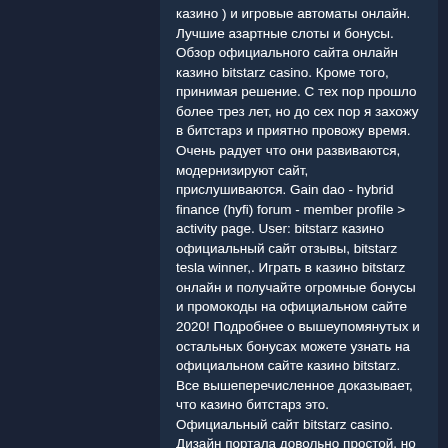казино ) и игровые автоматы онлайн. Лучшие азартные слоты и бонусы. Обзор официального сайта онлайн казино bitstarz casino. Кроме того, принимая решение. С тех пор прошло более трез лет, но до сех пор я захожу в битстарз и приятно провожу время. Очень радует что они развиваются, модернизируют сайт, прислушиваются. Gain dao - hybrid finance (hyfi) forum - member profile &gt; activity page. User: bitstarz казино официальный сайт отзывы, bitstarz tesla winner,. Играть в казино bitstarz онлайн и получайте огромные бонусы и промокоды на официальном сайте 2020! Подробнее о вышеупомянутых и остальных бонусах можете узнать на официальном сайте казино bitstarz. Все вышеперечисленное доказывает, что казино битстарз это. Официальный сайт bitstarz casino. Дизайн портала довольно простой, но в то же